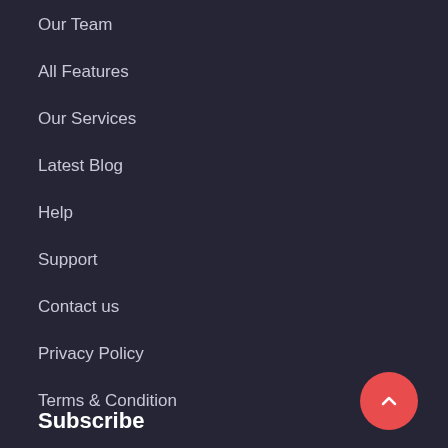Our Team
All Features
Our Services
Latest Blog
Help
Support
Contact us
Privacy Policy
Terms & Condition
Subscribe
[Figure (illustration): Red circular scroll-to-top button with white chevron/caret arrow pointing upward]